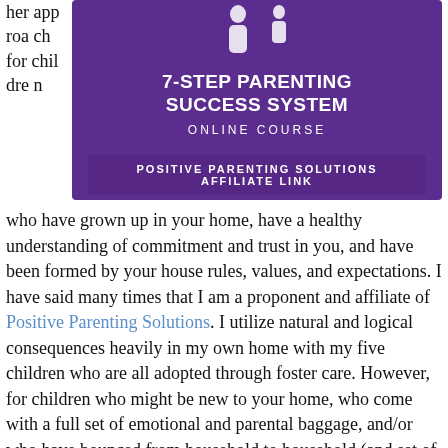her approach for children
[Figure (illustration): Purple banner ad for '7-Step Parenting Success System Online Course' with white silhouette icons of adult and child figures, and text 'Positive Parenting Solutions Affiliate Link']
who have grown up in your home, have a healthy understanding of commitment and trust in you, and have been formed by your house rules, values, and expectations. I have said many times that I am a proponent and affiliate of Positive Parenting Solutions. I utilize natural and logical consequences heavily in my own home with my five children who are all adopted through foster care. However, for children who might be new to your home, who come with a full set of emotional and parental baggage, and/or who have bounced from household to household (and set of house rules/expectations to set of